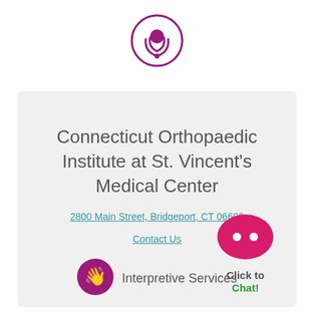[Figure (logo): Podcast icon — purple circle outline with podcast/broadcast symbol inside in purple]
Connecticut Orthopaedic Institute at St. Vincent's Medical Center
2800 Main Street, Bridgeport, CT 06606
Contact Us
[Figure (logo): Purple circle badge with sign language / interpretive services hand icon]
Interpretive Services
[Figure (logo): Pink/magenta speech bubble chat icon with two dots, labeled 'Click to Chat!']